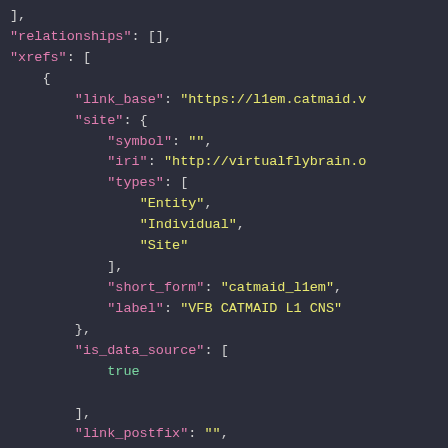],
"relationships": [],
"xrefs": [
    {
        "link_base": "https://l1em.catmaid.v
        "site": {
            "symbol": "",
            "iri": "http://virtualflybrain.o
            "types": [
                "Entity",
                "Individual",
                "Site"
            ],
            "short_form": "catmaid_l1em",
            "label": "VFB CATMAID L1 CNS"
        },
        "is_data_source": [
            true
        ],
        "link_postfix": "",
        "icon": "",
        "accession": "18231999".